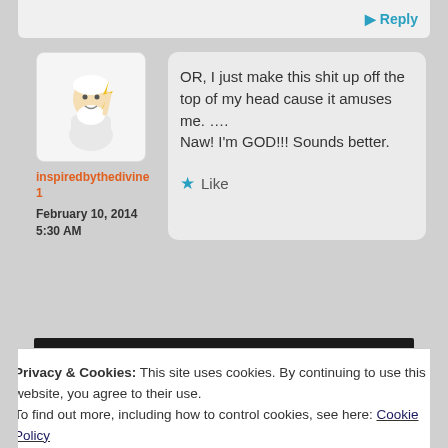[Figure (screenshot): Partial reply button area at top of page, showing a teal Reply button]
[Figure (illustration): Avatar image of cartoon God/Zeus figure in white robe holding lightning bolt]
inspiredbythedivine1
February 10, 2014
5:30 AM
OR, I just make this shit up off the top of my head cause it amuses me. .... Naw! I'm GOD!!! Sounds better.
★ Like
[Figure (screenshot): Dark black banner/advertisement area]
Privacy & Cookies: This site uses cookies. By continuing to use this website, you agree to their use.
To find out more, including how to control cookies, see here: Cookie Policy
Close and accept